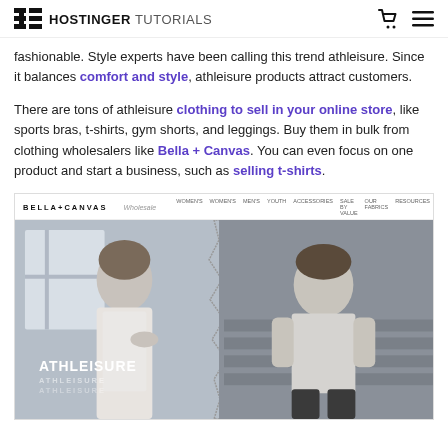HOSTINGER TUTORIALS
fashionable. Style experts have been calling this trend athleisure. Since it balances comfort and style, athleisure products attract customers.
There are tons of athleisure clothing to sell in your online store, like sports bras, t-shirts, gym shorts, and leggings. Buy them in bulk from clothing wholesalers like Bella + Canvas. You can even focus on one product and start a business, such as selling t-shirts.
[Figure (screenshot): Screenshot of the Bella + Canvas Wholesale website showing a banner with two models wearing athleisure wear, with text ATHLEISURE overlaid on the image.]